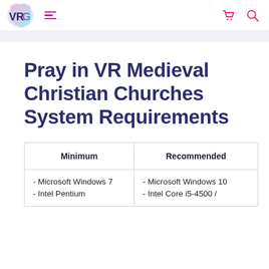VRG store header with logo, hamburger menu, cart icon, and search icon
Pray in VR Medieval Christian Churches System Requirements
| Minimum | Recommended |
| --- | --- |
| - Microsoft Windows 7
- Intel Pentium | - Microsoft Windows 10
- Intel Core i5-4590 / |